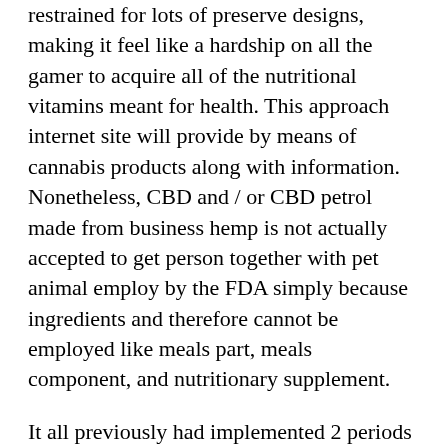restrained for lots of preserve designs, making it feel like a hardship on all the gamer to acquire all of the nutritional vitamins meant for health. This approach internet site will provide by means of cannabis products along with information. Nonetheless, CBD and / or CBD petrol made from business hemp is not actually accepted to get person together with pet animal employ by the FDA simply because ingredients and therefore cannot be employed like meals part, meals component, and nutritionary supplement.
It all previously had implemented 2 periods for the purpose of senior citizen science laboratory connect Joshua Cogell to test many of our on the lookout for trial samples, checking out regarding CBD too as for THC (the element in marihuana that produces a particular increased), basically meant for damaging harmful particles, similar to inorganic sprays in addition to grave metals. CBD-rich products and solutions ought to be made just using organically grown, entire shrub Cannabis since this goods the